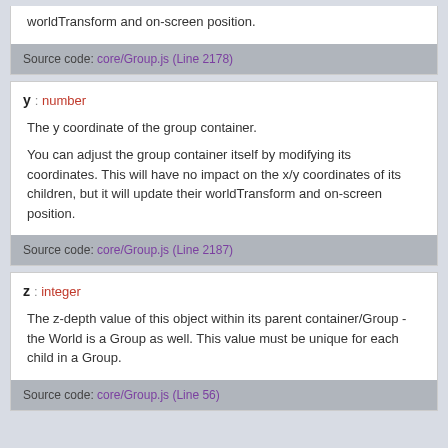worldTransform and on-screen position.
Source code: core/Group.js (Line 2178)
y : number
The y coordinate of the group container.
You can adjust the group container itself by modifying its coordinates. This will have no impact on the x/y coordinates of its children, but it will update their worldTransform and on-screen position.
Source code: core/Group.js (Line 2187)
z : integer
The z-depth value of this object within its parent container/Group - the World is a Group as well. This value must be unique for each child in a Group.
Source code: core/Group.js (Line 56)